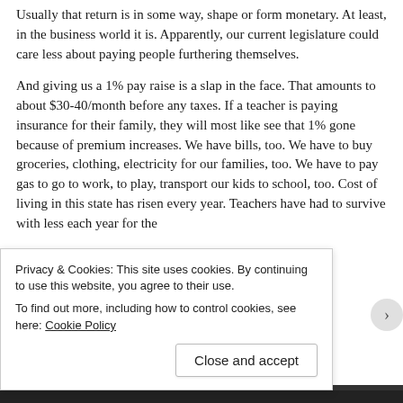Usually that return is in some way, shape or form monetary. At least, in the business world it is. Apparently, our current legislature could care less about paying people furthering themselves.
And giving us a 1% pay raise is a slap in the face. That amounts to about $30-40/month before any taxes. If a teacher is paying insurance for their family, they will most like see that 1% gone because of premium increases. We have bills, too. We have to buy groceries, clothing, electricity for our families, too. We have to pay gas to go to work, to play, transport our kids to school, too. Cost of living in this state has risen every year. Teachers have had to survive with less each year for the
Privacy & Cookies: This site uses cookies. By continuing to use this website, you agree to their use.
To find out more, including how to control cookies, see here: Cookie Policy
Close and accept